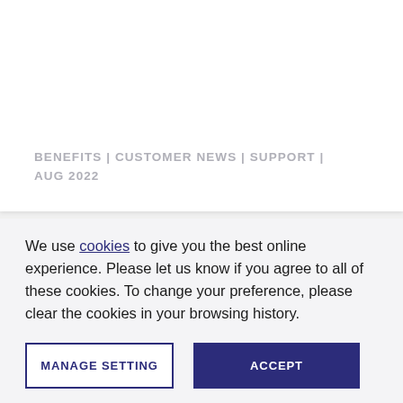BENEFITS | CUSTOMER NEWS | SUPPORT | AUG 2022
We use cookies to give you the best online experience. Please let us know if you agree to all of these cookies. To change your preference, please clear the cookies in your browsing history.
MANAGE SETTING
ACCEPT